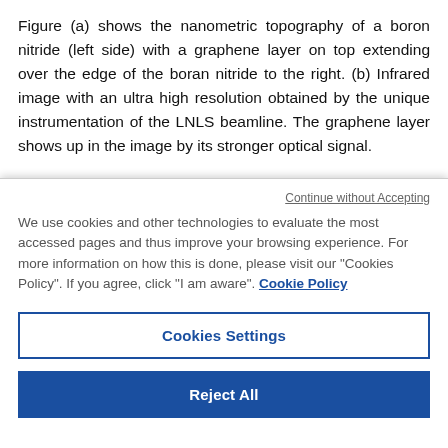Figure (a) shows the nanometric topography of a boron nitride (left side) with a graphene layer on top extending over the edge of the boran nitride to the right. (b) Infrared image with an ultra high resolution obtained by the unique instrumentation of the LNLS beamline. The graphene layer shows up in the image by its stronger optical signal.

Published in the journal Nanoscale of the Royal Chemical Society of England, the figure above shows highly resolved
Continue without Accepting
We use cookies and other technologies to evaluate the most accessed pages and thus improve your browsing experience. For more information on how this is done, please visit our "Cookies Policy". If you agree, click "I am aware". Cookie Policy
Cookies Settings
Reject All